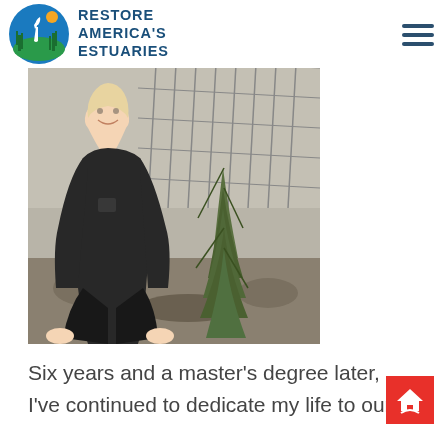RESTORE AMERICA'S ESTUARIES
[Figure (photo): A young woman with blonde hair kneeling outdoors next to a small evergreen plant or shrub, smiling at the camera. She is wearing a dark fleece jacket and dark pants. The background shows a wire fence and bare winter vegetation.]
Six years and a master’s degree later, I’ve continued to dedicate my life to our